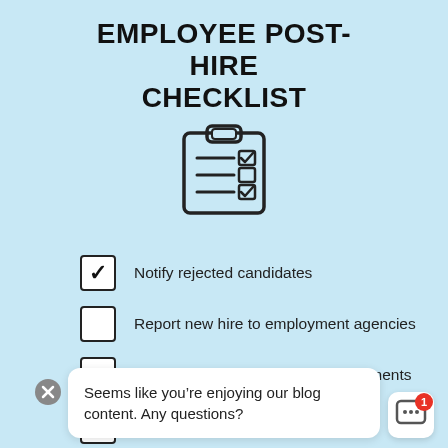EMPLOYEE POST-HIRE CHECKLIST
[Figure (illustration): Clipboard icon with checklist lines and checkmarks]
Notify rejected candidates
Report new hire to employment agencies
Complete and organize legal documents
Establish and communicate payroll
Provide orientation and training
Seems like you’re enjoying our blog content. Any questions?